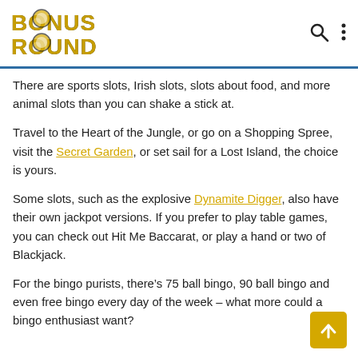BONUS ROUND
There are sports slots, Irish slots, slots about food, and more animal slots than you can shake a stick at.
Travel to the Heart of the Jungle, or go on a Shopping Spree, visit the Secret Garden, or set sail for a Lost Island, the choice is yours.
Some slots, such as the explosive Dynamite Digger, also have their own jackpot versions. If you prefer to play table games, you can check out Hit Me Baccarat, or play a hand or two of Blackjack.
For the bingo purists, there’s 75 ball bingo, 90 ball bingo and even free bingo every day of the week – what more could a bingo enthusiast want?